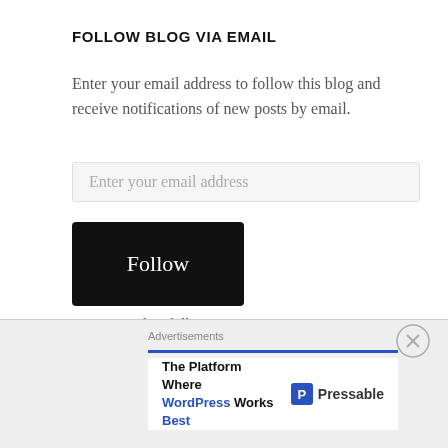FOLLOW BLOG VIA EMAIL
Enter your email address to follow this blog and receive notifications of new posts by email.
Enter your email address
Follow
Join 563 other followers
ARCHIVES
Advertisements
The Platform Where WordPress Works Best
Pressable